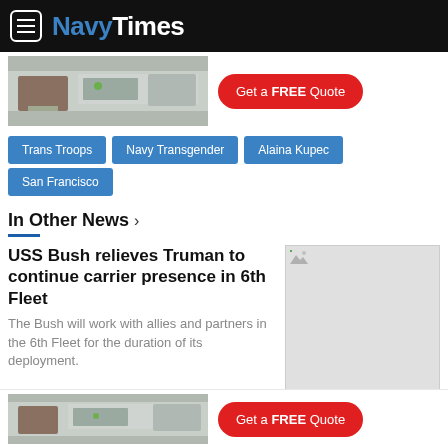NavyTimes
[Figure (photo): Advertisement banner showing a kitchen with a Get a FREE Quote button]
Trans Troops
Navy Transgender
Alaina Kupec
San Francisco
In Other News >
USS Bush relieves Truman to continue carrier presence in 6th Fleet
The Bush will work with allies and partners in the 6th Fleet for the duration of its deployment.
[Figure (photo): Thumbnail image placeholder for USS Bush article]
[Figure (photo): Advertisement banner at bottom showing a kitchen with a Get a FREE Quote button]